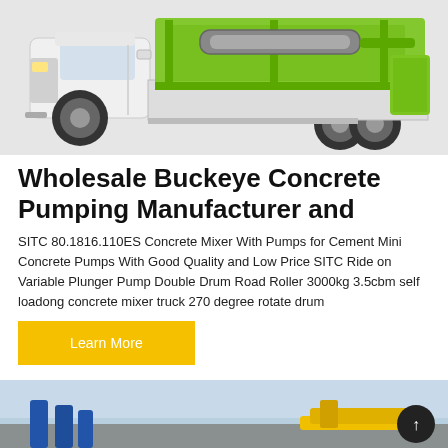[Figure (photo): A white and green concrete mixer truck with pump equipment mounted on the back, photographed on a light gray background.]
Wholesale Buckeye Concrete Pumping Manufacturer and
SITC 80.1816.110ES Concrete Mixer With Pumps for Cement Mini Concrete Pumps With Good Quality and Low Price SITC Ride on Variable Plunger Pump Double Drum Road Roller 3000kg 3.5cbm self loadong concrete mixer truck 270 degree rotate drum
Learn More
[Figure (photo): Partial view of construction equipment, blue and yellow machinery visible against a light blue sky background. A dark circular scroll-to-top button is visible in the bottom right corner.]